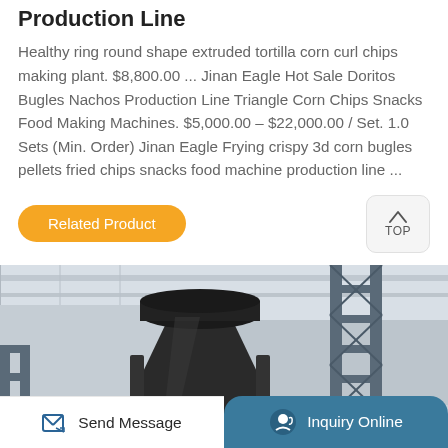Production Line
Healthy ring round shape extruded tortilla corn curl chips making plant. $8,800.00 ... Jinan Eagle Hot Sale Doritos Bugles Nachos Production Line Triangle Corn Chips Snacks Food Making Machines. $5,000.00 – $22,000.00 / Set. 1.0 Sets (Min. Order) Jinan Eagle Frying crispy 3d corn bugles pellets fried chips snacks food machine production line ...
[Figure (other): Orange 'Related Product' button and a 'TOP' navigation button]
[Figure (photo): Industrial food production machine (black cone-shaped extruder with red base) inside a factory with metal scaffolding, photographed in a large industrial space]
[Figure (other): Bottom navigation bar: 'Send Message' button on the left (white background with pencil/message icon) and 'Inquiry Online' button on the right (teal/blue background with headset icon)]